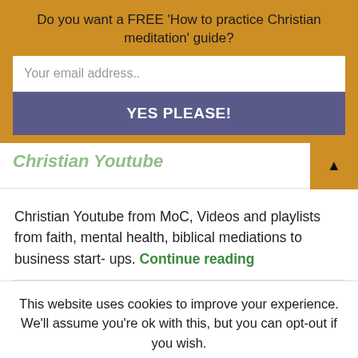Do you want a FREE 'How to practice Christian meditation' guide?
Your email address..
YES PLEASE!
Christian Youtube
Christian Youtube from MoC, Videos and playlists from faith, mental health, biblical mediations to business start- ups. Continue reading
This website uses cookies to improve your experience. We'll assume you're ok with this, but you can opt-out if you wish.
Cookie settings
ACCEPT